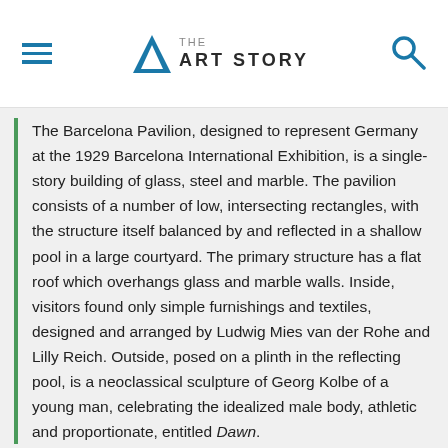THE ART STORY
The Barcelona Pavilion, designed to represent Germany at the 1929 Barcelona International Exhibition, is a single-story building of glass, steel and marble. The pavilion consists of a number of low, intersecting rectangles, with the structure itself balanced by and reflected in a shallow pool in a large courtyard. The primary structure has a flat roof which overhangs glass and marble walls. Inside, visitors found only simple furnishings and textiles, designed and arranged by Ludwig Mies van der Rohe and Lilly Reich. Outside, posed on a plinth in the reflecting pool, is a neoclassical sculpture of Georg Kolbe of a young man, celebrating the idealized male body, athletic and proportionate, entitled Dawn.
Mies and Reich's Barcelona Pavilion is unusual in that it was designed solely as a reception space, free